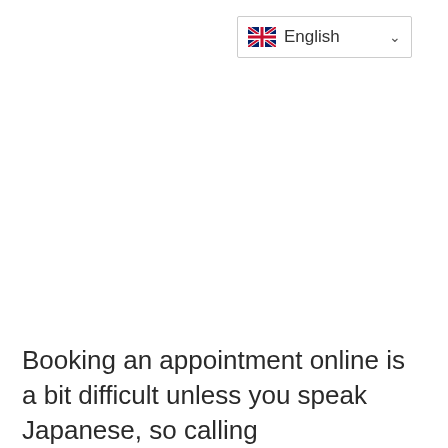[Figure (screenshot): Language selector dropdown button showing UK flag and 'English' text with chevron]
Booking an appointment online is a bit difficult unless you speak Japanese, so calling